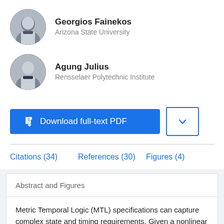Georgios Fainekos
Arizona State University
Agung Julius
Rensselaer Polytechnic Institute
Download full-text PDF
Citations (34)   References (30)   Figures (4)
Abstract and Figures
Metric Temporal Logic (MTL) specifications can capture complex state and timing requirements. Given a nonlinear dynamical system and an MTL specification for that system, our goal is to find a trajectory that violates or satisfies the specification. This trajectory can be used as a concrete feedback to the system designer in the case of violation or as a